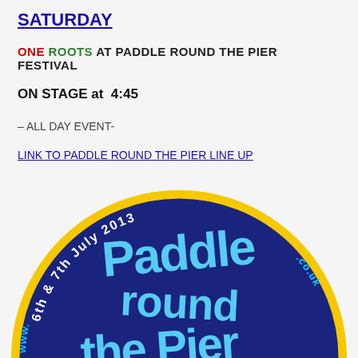SATURDAY
ONE ROOTS AT PADDLE ROUND THE PIER FESTIVAL
ON STAGE at  4:45
– ALL DAY EVENT-
LINK TO PADDLE ROUND THE PIER LINE UP
[Figure (logo): Paddle Round the Pier festival logo — dark blue oval with light blue groovy text reading 'Paddle Round the Pier', yellow border ring, text around the top reading '6th & 7th July 2013', website URL around the sides]